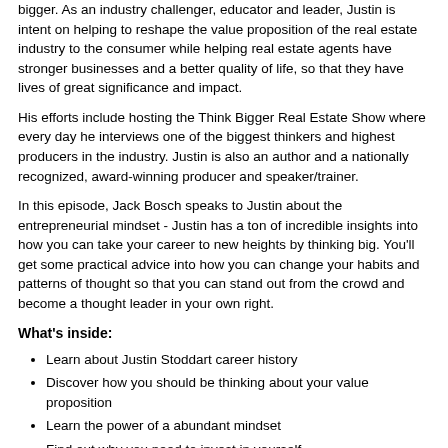bigger. As an industry challenger, educator and leader, Justin is intent on helping to reshape the value proposition of the real estate industry to the consumer while helping real estate agents have stronger businesses and a better quality of life, so that they have lives of great significance and impact.
His efforts include hosting the Think Bigger Real Estate Show where every day he interviews one of the biggest thinkers and highest producers in the industry. Justin is also an author and a nationally recognized, award-winning producer and speaker/trainer.
In this episode, Jack Bosch speaks to Justin about the entrepreneurial mindset - Justin has a ton of incredible insights into how you can take your career to new heights by thinking big. You'll get some practical advice into how you can change your habits and patterns of thought so that you can stand out from the crowd and become a thought leader in your own right.
What's inside:
Learn about Justin Stoddart career history
Discover how you should be thinking about your value proposition
Learn the power of a abundant mindset
Find out why you need to invest in yourself
Mentioned in this episode
Subscribe and rate our podcast at: http://www.Jackbosch.com/podcast